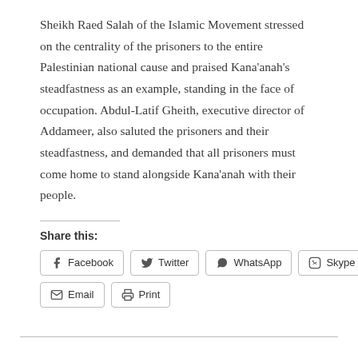Sheikh Raed Salah of the Islamic Movement stressed on the centrality of the prisoners to the entire Palestinian national cause and praised Kana'anah's steadfastness as an example, standing in the face of occupation. Abdul-Latif Gheith, executive director of Addameer, also saluted the prisoners and their steadfastness, and demanded that all prisoners must come home to stand alongside Kana'anah with their people.
Share this: